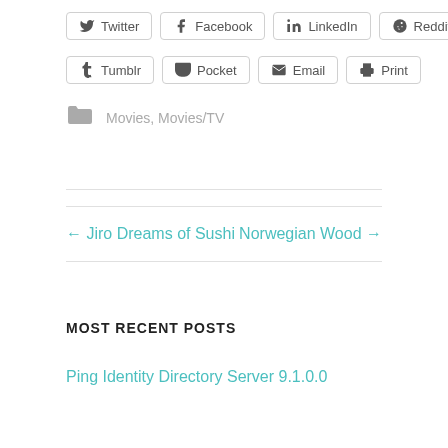Twitter  Facebook  LinkedIn  Reddit
Tumblr  Pocket  Email  Print
Movies, Movies/TV
← Jiro Dreams of Sushi
Norwegian Wood →
MOST RECENT POSTS
Ping Identity Directory Server 9.1.0.0